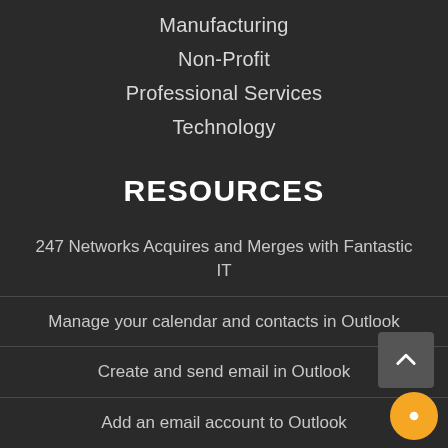Manufacturing
Non-Profit
Professional Services
Technology
RESOURCES
247 Networks Acquires and Merges with Fantastic IT
Manage your calendar and contacts in Outlook
Create and send email in Outlook
Add an email account to Outlook
Update Your Address Book, We Are Moving!